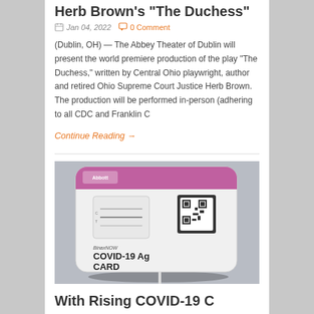Herb Brown's "The Duchess"
Jan 04, 2022   0 Comment
(Dublin, OH) — The Abbey Theater of Dublin will present the world premiere production of the play “The Duchess,” written by Central Ohio playwright, author and retired Ohio Supreme Court Justice Herb Brown. The production will be performed in-person (adhering to all CDC and Franklin C
Continue Reading →
[Figure (photo): A BinaxNOW COVID-19 Ag Card rapid antigen test kit, a white card with pink/purple branding, QR code, and test window visible, placed on a light fabric surface.]
With Rising COVID-19 C